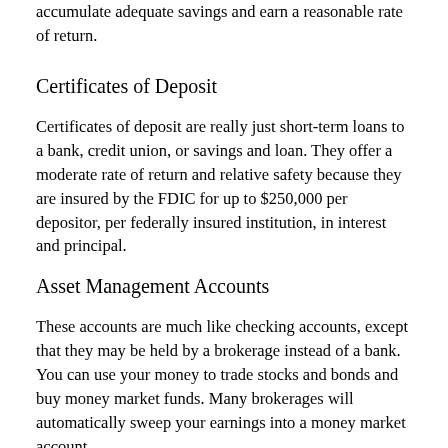accumulate adequate savings and earn a reasonable rate of return.
Certificates of Deposit
Certificates of deposit are really just short-term loans to a bank, credit union, or savings and loan. They offer a moderate rate of return and relative safety because they are insured by the FDIC for up to $250,000 per depositor, per federally insured institution, in interest and principal.
Asset Management Accounts
These accounts are much like checking accounts, except that they may be held by a brokerage instead of a bank. You can use your money to trade stocks and bonds and buy money market funds. Many brokerages will automatically sweep your earnings into a money market account.
Series EE Savings Bonds
For many years, when bonds were mentioned, people